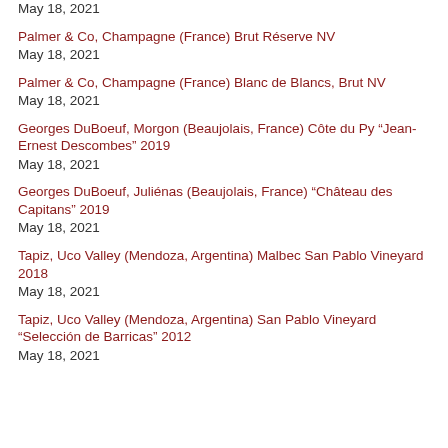May 18, 2021
Palmer & Co, Champagne (France) Brut Réserve NV
May 18, 2021
Palmer & Co, Champagne (France) Blanc de Blancs, Brut NV
May 18, 2021
Georges DuBoeuf, Morgon (Beaujolais, France) Côte du Py "Jean-Ernest Descombes" 2019
May 18, 2021
Georges DuBoeuf, Juliénas (Beaujolais, France) "Château des Capitans" 2019
May 18, 2021
Tapiz, Uco Valley (Mendoza, Argentina) Malbec San Pablo Vineyard 2018
May 18, 2021
Tapiz, Uco Valley (Mendoza, Argentina) San Pablo Vineyard "Selección de Barricas" 2012
May 18, 2021